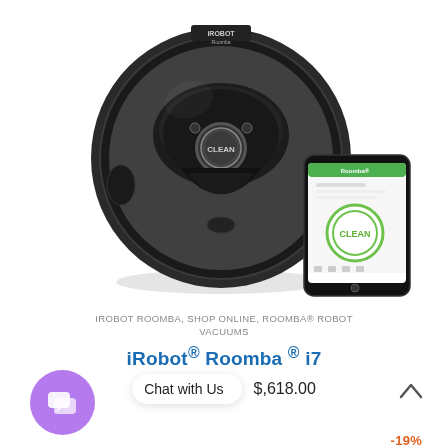[Figure (photo): iRobot Roomba i7 robot vacuum (top-down view, dark grey/black circular device with CLEAN button) shown alongside a smartphone displaying the iRobot app with a green CLEAN button]
IROBOT ROOMBA, SHOP ONLINE, ROOMBA® ROBOT VACUUMS
iRobot® Roomba ® i7
Chat with Us   $,618.00
-19%